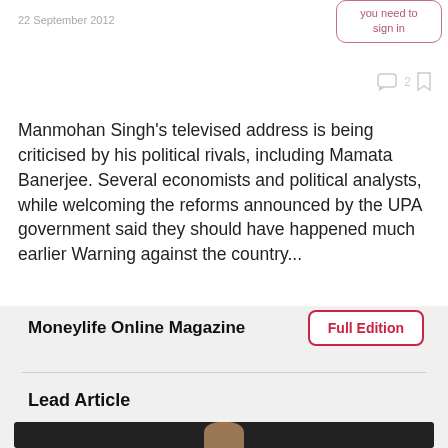22 September 2012
you need to sign in
Manmohan Singh's televised address is being criticised by his political rivals, including Mamata Banerjee. Several economists and political analysts, while welcoming the reforms announced by the UPA government said they should have happened much earlier Warning against the country...
Read More
Moneylife Online Magazine
Full Edition
Lead Article
[Figure (photo): Dark photo strip showing partial face/person, cropped at bottom of page]